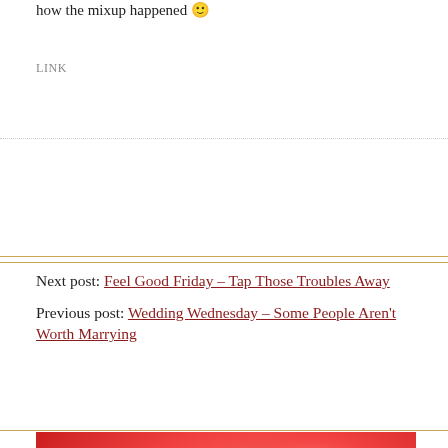how the mixup happened 🙂
LINK
Next post: Feel Good Friday – Tap Those Troubles Away
Previous post: Wedding Wednesday – Some People Aren't Worth Marrying
[Figure (photo): Close-up macro photo of a red gerbera daisy flower with yellow center, radiating red petals, warm orange-red tones]